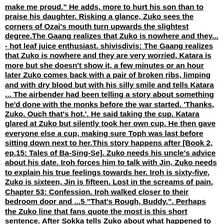make me proud." He adds, more to hurt his son than to praise his daughter. Risking a glance, Zuko sees the corners of Ozai's mouth turn upwards the slightest degree.The Gaang realizes that Zuko is nowhere and they... - hot leaf juice enthusiast. shivisdivis: The Gaang realizes that Zuko is nowhere and they are very worried, Katara is more but she doesn't show it, a few minutes or an hour later Zuko comes back with a pair of broken ribs, limping and with dry blood but with his silly smile and tells Katara ... The airbender had been telling a story about something he'd done with the monks before the war started. 'Thanks, Zuko. Ouch that's hot.'. He said taking the cup. Katara glared at Zuko but silently took her own cup. He then gave everyone else a cup, making sure Toph was last before sitting down next to her.This story happens after [Book 2, ep.15: Tales of Ba-Sing-Se]. Zuko needs his uncle's advice about his date. Iroh forces him to talk with Jin, Zuko needs to explain his true feelings towards her. Iroh is sixty-five, Zuko is sixteen, Jin is fifteen. Lost in the screams of pain, Chapter 53: Confession. Iroh walked closer to their bedroom door and ...5 "That's Rough, Buddy.". Perhaps the Zuko line that fans quote the most is this short sentence. After Sokka tells Zuko about what happened to Princess Yue, he offers these short but simple words of comfort. It's a funny scene, and many fans enjoy seeing Sokka and Zuko interact. Not to mention, it's a phrase that's easy to put into ...The Lost Waterbender (Avatar: